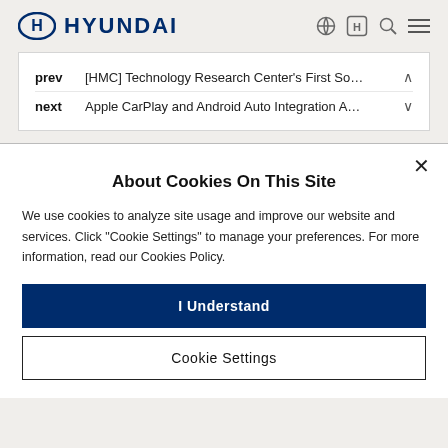HYUNDAI
prev  [HMC] Technology Research Center's First So...
next  Apple CarPlay and Android Auto Integration A...
About Cookies On This Site
We use cookies to analyze site usage and improve our website and services. Click "Cookie Settings" to manage your preferences. For more information, read our Cookies Policy.
I Understand
Cookie Settings